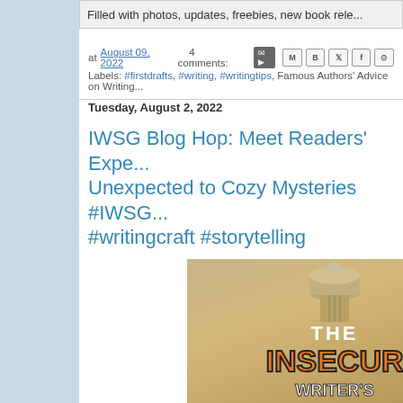Filled with photos, updates, freebies, new book rele...
at August 09, 2022   4 comments:
Labels: #firstdrafts, #writing, #writingtips, Famous Authors' Advice on Writing...
Tuesday, August 2, 2022
IWSG Blog Hop: Meet Readers' Expectations and Unexpected to Cozy Mysteries #IWSG #writingcraft #storytelling
[Figure (illustration): IWSG (Insecure Writer's Support Group) logo showing a dome/lighthouse structure with 'THE INSECURE WRITER'S' text in orange and white on a warm tan background]